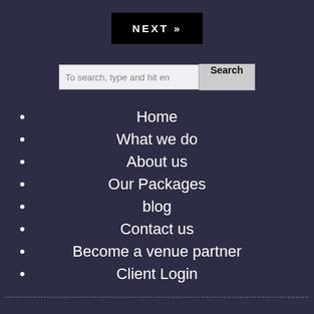[Figure (other): NEXT button with double angle bracket, black background, white text]
[Figure (other): Search bar with placeholder text 'To search, type and hit en' and a Search button]
Home
What we do
About us
Our Packages
blog
Contact us
Become a venue partner
Client Login
[Figure (logo): COCODISCO logo text partially visible at bottom of page]